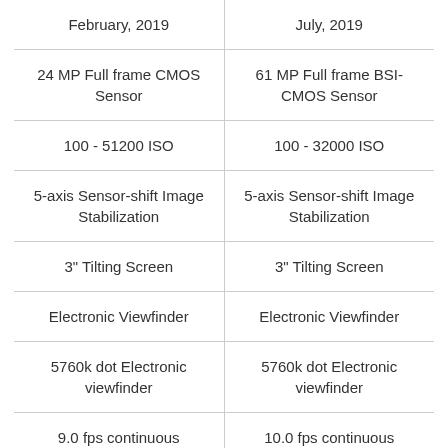| Column 1 | Column 2 |
| --- | --- |
| February, 2019 | July, 2019 |
| 24 MP Full frame CMOS Sensor | 61 MP Full frame BSI-CMOS Sensor |
| 100 - 51200 ISO | 100 - 32000 ISO |
| 5-axis Sensor-shift Image Stabilization | 5-axis Sensor-shift Image Stabilization |
| 3" Tilting Screen | 3" Tilting Screen |
| Electronic Viewfinder | Electronic Viewfinder |
| 5760k dot Electronic viewfinder | 5760k dot Electronic viewfinder |
| 9.0 fps continuous shooting | 10.0 fps continuous shooting |